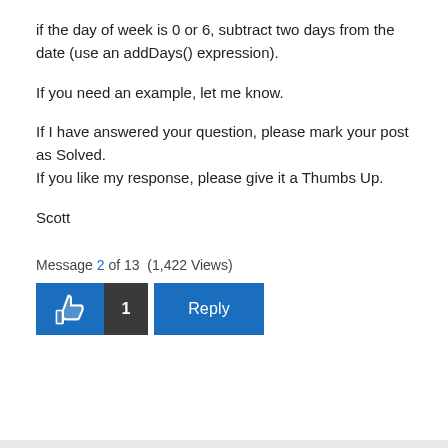if the day of week is 0 or 6, subtract two days from the date (use an addDays() expression).
If you need an example, let me know.
If I have answered your question, please mark your post as Solved.
If you like my response, please give it a Thumbs Up.
Scott
Message 2 of 13  (1,422 Views)
[Figure (other): Thumbs up button with count 1 and Reply button]